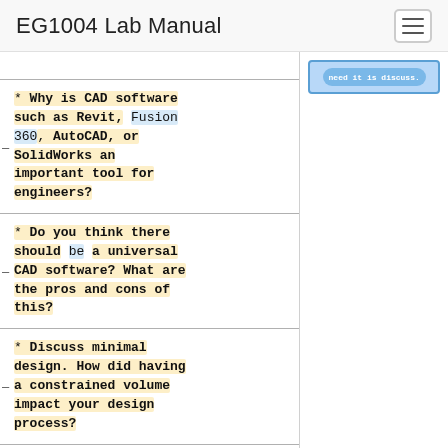EG1004 Lab Manual
* Why is CAD software such as Revit, Fusion 360, AutoCAD, or SolidWorks an important tool for engineers?
* Do you think there should be a universal CAD software? What are the pros and cons of this?
* Discuss minimal design. How did having a constrained volume impact your design process?
* How did your